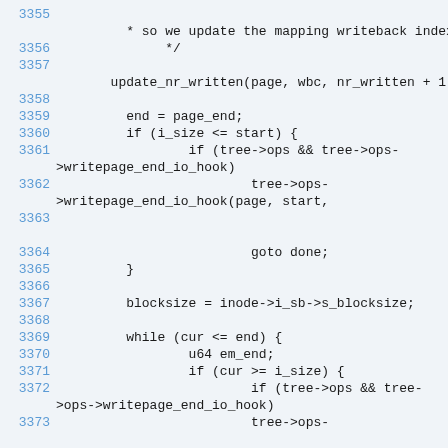Source code listing lines 3355-3373, showing C code for writeback and page operations including update_nr_written, end=page_end, i_size checks, tree->ops->writepage_end_io_hook calls, goto done, blocksize assignment, and while loop with u64 em_end and cur>=i_size checks.